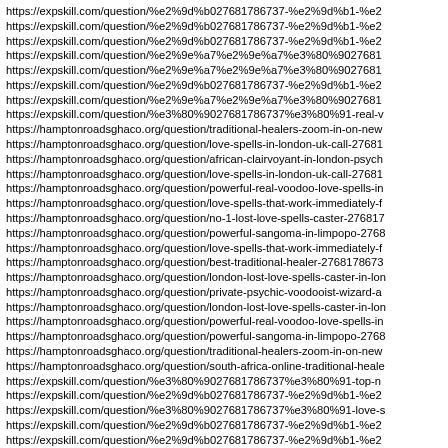https://expskill.com/question/%e2%9d%b027681786737-%e2%9d%b1-%e2
https://expskill.com/question/%e2%9d%b027681786737-%e2%9d%b1-%e2
https://expskill.com/question/%e2%9d%b027681786737-%e2%9d%b1-%e2
https://expskill.com/question/%e2%9e%a7%e2%9e%a7%e3%80%9027681
https://expskill.com/question/%e2%9e%a7%e2%9e%a7%e3%80%9027681
https://expskill.com/question/%e2%9d%b027681786737-%e2%9d%b1-%e2
https://expskill.com/question/%e2%9e%a7%e2%9e%a7%e3%80%9027681
https://expskill.com/question/%e3%80%9027681786737%e3%80%91-real-v
https://hamptonroadsghaco.org/question/traditional-healers-zoom-in-on-new
https://hamptonroadsghaco.org/question/love-spells-in-london-uk-call-27681
https://hamptonroadsghaco.org/question/african-clairvoyant-in-london-psych
https://hamptonroadsghaco.org/question/love-spells-in-london-uk-call-27681
https://hamptonroadsghaco.org/question/powerful-real-voodoo-love-spells-in
https://hamptonroadsghaco.org/question/love-spells-that-work-immediately-f
https://hamptonroadsghaco.org/question/no-1-lost-love-spells-caster-276817
https://hamptonroadsghaco.org/question/powerful-sangoma-in-limpopo-2768
https://hamptonroadsghaco.org/question/love-spells-that-work-immediately-f
https://hamptonroadsghaco.org/question/best-traditional-healer-2768178673
https://hamptonroadsghaco.org/question/london-lost-love-spells-caster-in-lon
https://hamptonroadsghaco.org/question/private-psychic-voodooist-wizard-a
https://hamptonroadsghaco.org/question/london-lost-love-spells-caster-in-lon
https://hamptonroadsghaco.org/question/powerful-real-voodoo-love-spells-in
https://hamptonroadsghaco.org/question/powerful-sangoma-in-limpopo-2768
https://hamptonroadsghaco.org/question/traditional-healers-zoom-in-on-new
https://hamptonroadsghaco.org/question/south-africa-online-traditional-heale
https://expskill.com/question/%e3%80%9027681786737%e3%80%91-top-n
https://expskill.com/question/%e2%9d%b027681786737-%e2%9d%b1-%e2
https://expskill.com/question/%e3%80%9027681786737%e3%80%91-love-s
https://expskill.com/question/%e2%9d%b027681786737-%e2%9d%b1-%e2
https://expskill.com/question/%e2%9d%b027681786737-%e2%9d%b1-%e2
https://expskill.com/question/%e2%9d%b027681786737-%e2%9d%b1-%e2